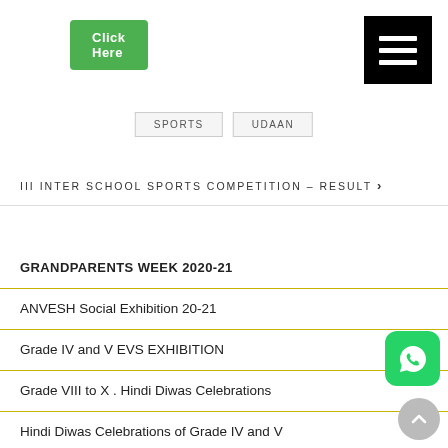[Figure (other): Green 'Click Here' button in top left]
[Figure (other): Black hamburger menu icon in top right]
SPORTS   UDAAN
III INTER SCHOOL SPORTS COMPETITION – RESULT ›
GRANDPARENTS WEEK 2020-21
ANVESH Social Exhibition 20-21
Grade IV and V EVS EXHIBITION
Grade VIII to X . Hindi Diwas Celebrations
Hindi Diwas Celebrations of Grade IV and V
Hindi Diwas Celebrations Grade I to III